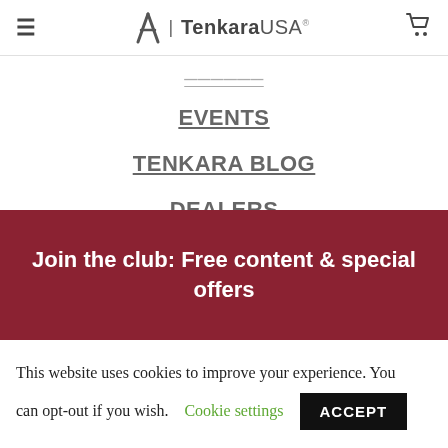Tenkara USA®
EVENTS
TENKARA BLOG
DEALERS
ABOUT US
Join the club: Free content & special offers
This website uses cookies to improve your experience. You can opt-out if you wish. Cookie settings ACCEPT